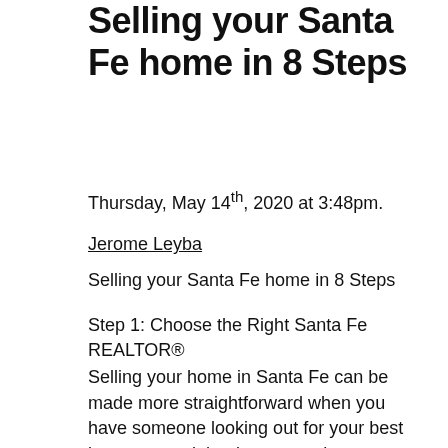Selling your Santa Fe home in 8 Steps
Thursday, May 14th, 2020 at 3:48pm.
Jerome Leyba
Selling your Santa Fe home in 8 Steps
Step 1: Choose the Right Santa Fe REALTOR®
Selling your home in Santa Fe can be made more straightforward when you have someone looking out for your best interests, and that is accurately representing you. This is why picking the right Santa Fe agent listing agent is so important!  A listing Agent work's to not only market your home effectively, but they will also help you